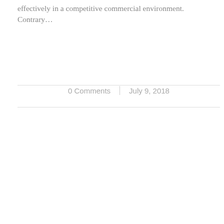effectively in a competitive commercial environment. Contrary…
0 Comments | July 9, 2018